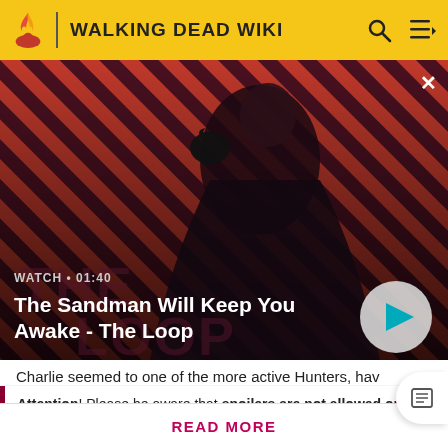WALKING DEAD WIKI
[Figure (screenshot): Video thumbnail showing a dark figure with a raven on shoulder against a diagonal red and dark stripe background. Title 'The Loop' visible. Play button overlay.]
WATCH • 01:40
The Sandman Will Keep You Awake - The Loop
Charlie seemed to one of the more active Hunters, hav
Attention! Please be aware that spoilers are not allowed on the wiki and a violation of this policy may result in a ban.
READ MORE